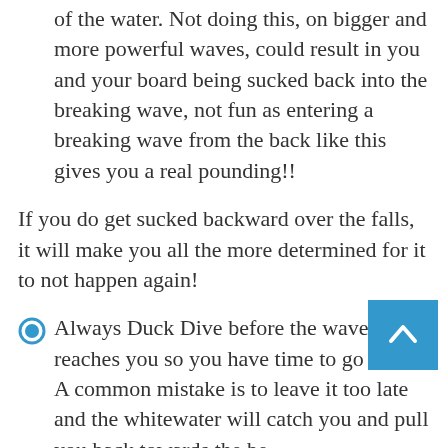of the water. Not doing this, on bigger and more powerful waves, could result in you and your board being sucked back into the breaking wave, not fun as entering a breaking wave from the back like this gives you a real pounding!!
If you do get sucked backward over the falls, it will make you all the more determined for it to not happen again!
Always Duck Dive before the wave reaches you so you have time to go under. A common mistake is to leave it too late and the whitewater will catch you and pull you back towards the be
Remember learning to duck dive takes a lot of practice to get it right. You should be able to duck dive in flat water once you get the hang of it - just